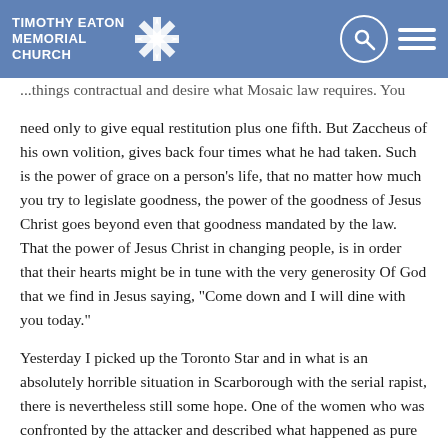TIMOTHY EATON MEMORIAL CHURCH
...need only to give equal restitution plus one fifth. But Zaccheus of his own volition, gives back four times what he had taken. Such is the power of grace on a person's life, that no matter how much you try to legislate goodness, the power of the goodness of Jesus Christ goes beyond even that goodness mandated by the law. That the power of Jesus Christ in changing people, is in order that their hearts might be in tune with the very generosity Of God that we find in Jesus saying, "Come down and I will dine with you today."
Yesterday I picked up the Toronto Star and in what is an absolutely horrible situation in Scarborough with the serial rapist, there is nevertheless still some hope. One of the women who was confronted by the attacker and described what happened as pure evil, had this to say: When she cried out in her moment of need and the attacker was there, she said, "Oh Jesus, help Me!" The attacker turned and fled from the room. That is amazing, but